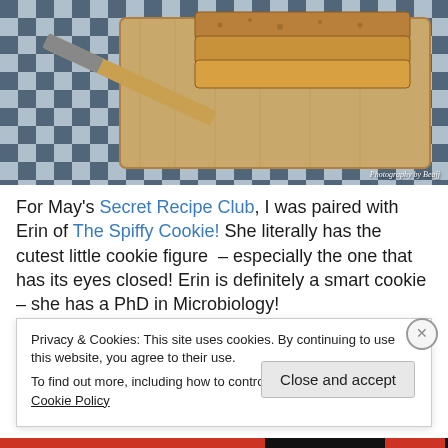[Figure (photo): Stack of cookie bars on a wooden cutting board with a knife, on a blue and white checkered cloth background. Watermark reads 'Photography by Beajj']
For May's Secret Recipe Club, I was paired with Erin of The Spiffy Cookie! She literally has the cutest little cookie figure – especially the one that has its eyes closed! Erin is definitely a smart cookie – she has a PhD in Microbiology!
Privacy & Cookies: This site uses cookies. By continuing to use this website, you agree to their use.
To find out more, including how to control cookies, see here: Cookie Policy
Close and accept